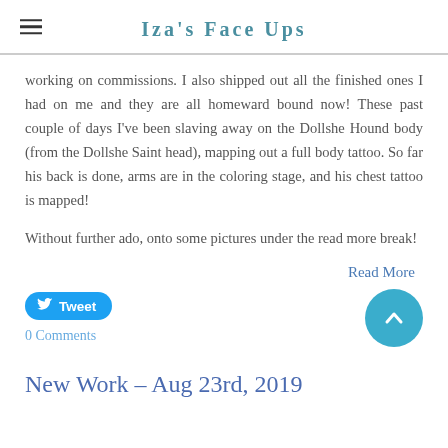Iza's Face Ups
working on commissions. I also shipped out all the finished ones I had on me and they are all homeward bound now! These past couple of days I've been slaving away on the Dollshe Hound body (from the Dollshe Saint head), mapping out a full body tattoo. So far his back is done, arms are in the coloring stage, and his chest tattoo is mapped!
Without further ado, onto some pictures under the read more break!
Read More
Tweet
0 Comments
New Work – Aug 23rd, 2019